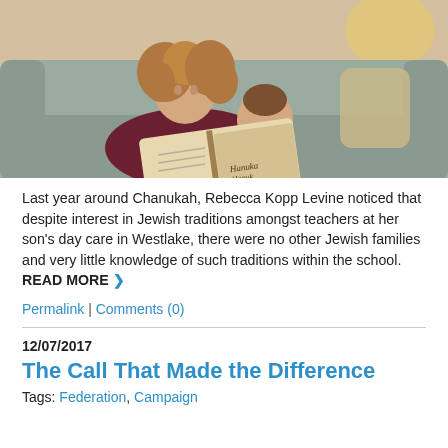[Figure (photo): A woman with curly hair sitting on a couch reading a Hanukkah picture book to a young toddler boy. A floor lamp and grey sofa are visible in the background.]
Last year around Chanukah, Rebecca Kopp Levine noticed that despite interest in Jewish traditions amongst teachers at her son's day care in Westlake, there were no other Jewish families and very little knowledge of such traditions within the school. READ MORE ❯
Permalink | Comments (0)
12/07/2017
The Call That Made the Difference
Tags: Federation, Campaign